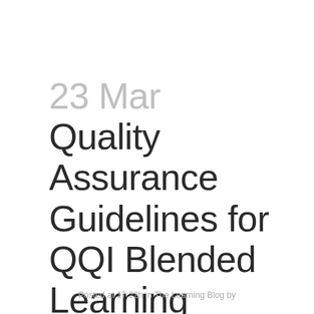23 Mar Quality Assurance Guidelines for QQI Blended Learning Programmes
Posted at 17:22h in The Learning Blog by